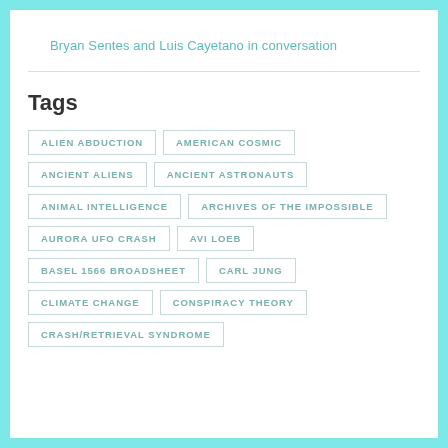Bryan Sentes and Luis Cayetano in conversation
Tags
ALIEN ABDUCTION
AMERICAN COSMIC
ANCIENT ALIENS
ANCIENT ASTRONAUTS
ANIMAL INTELLIGENCE
ARCHIVES OF THE IMPOSSIBLE
AURORA UFO CRASH
AVI LOEB
BASEL 1566 BROADSHEET
CARL JUNG
CLIMATE CHANGE
CONSPIRACY THEORY
CRASH/RETRIEVAL SYNDROME